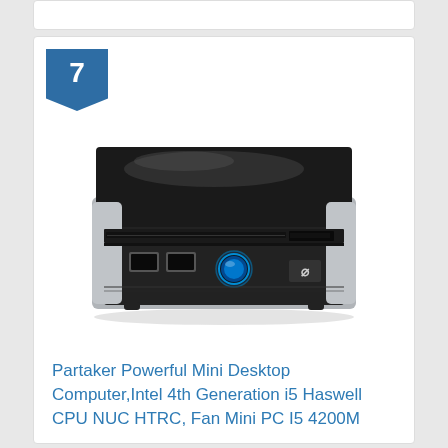[Figure (photo): A small rectangular mini desktop PC / HTPC with a black glossy top panel, silver front face with USB ports, a blue illuminated power button, optical disc drive slot, and card reader. The unit sits on small rubber feet.]
Partaker Powerful Mini Desktop Computer,Intel 4th Generation i5 Haswell CPU NUC HTPC, Fan Mini PC I5 4200M